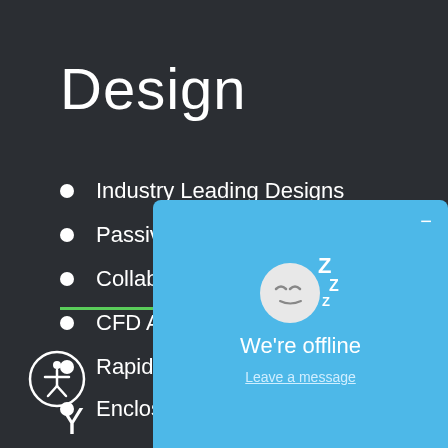Design
Industry Leading Designs
Passive & Active Cooling
Collaborative Engineering
CFD Analysis
Rapid Protoyping
Enclosures, Mo[lds]
[Figure (screenshot): Chat widget popup showing a sleeping face emoji with Z letters indicating sleep/offline status, text 'We're offline' and 'Leave a message' on a light blue background.]